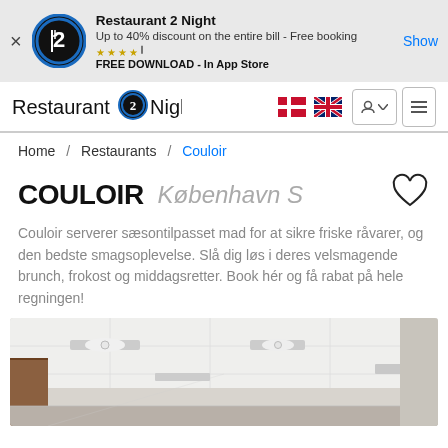Restaurant 2 Night — Up to 40% discount on the entire bill - Free booking. FREE DOWNLOAD - In App Store. Show
Restaurant 2Night logo | Danish flag | UK flag | user button | menu
Home / Restaurants / Couloir
COULOIR  København S
Couloir serverer sæsontilpasset mad for at sikre friske råvarer, og den bedste smagsoplevelse. Slå dig løs i deres velsmagende brunch, frokost og middagsretter. Book hér og få rabat på hele regningen!
[Figure (photo): Interior photo of Couloir restaurant showing white ceiling with recessed lighting and wooden wall elements]